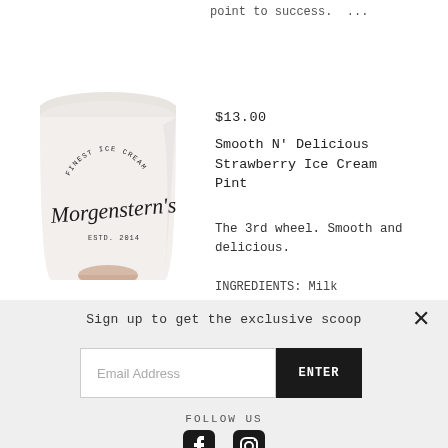[Figure (photo): A white ice cream pint container labeled 'Morgenstern's Finest Ice Cream' being held by a hand, shown from a slight angle against a white background.]
point to success. ...
$13.00
Smooth N' Delicious Strawberry Ice Cream Pint
The 3rd wheel. Smooth and delicious.
INGREDIENTS: Milk
Sign up to get the exclusive scoop
Email Address
ENTER
FOLLOW US